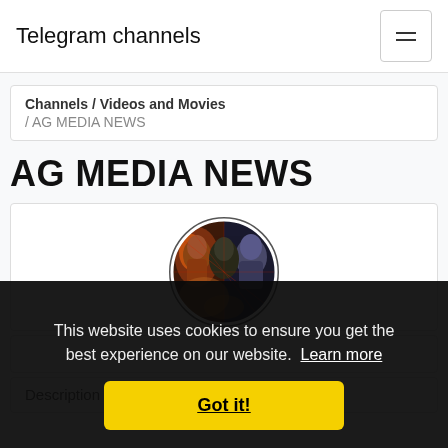Telegram channels
Channels / Videos and Movies / AG MEDIA NEWS
AG MEDIA NEWS
[Figure (photo): Circular avatar image showing a collage of movie/superhero characters, dark tones with orange and gold highlights]
Description
This website uses cookies to ensure you get the best experience on our website. Learn more
Got it!